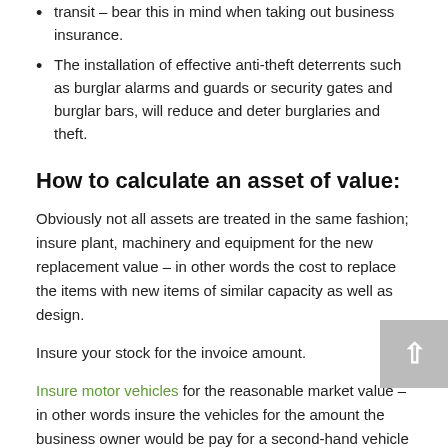transit – bear this in mind when taking out business insurance.
The installation of effective anti-theft deterrents such as burglar alarms and guards or security gates and burglar bars, will reduce and deter burglaries and theft.
How to calculate an asset of value:
Obviously not all assets are treated in the same fashion; insure plant, machinery and equipment for the new replacement value – in other words the cost to replace the items with new items of similar capacity as well as design.
Insure your stock for the invoice amount.
Insure motor vehicles for the reasonable market value – in other words insure the vehicles for the amount the business owner would be pay for a second-hand vehicle in a similar condition.
There are a couple of areas that are commonly overlooked – don't fall into this trap of simply overlooking some of the vital areas of your business such as underestimating the impact that damage to